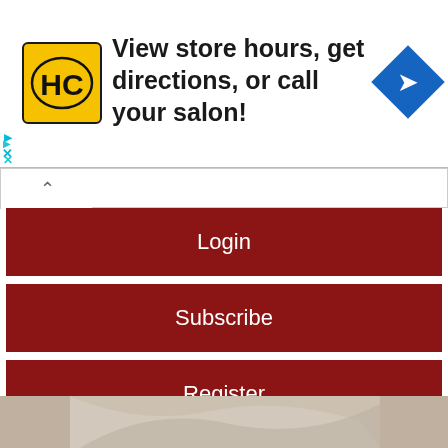[Figure (logo): Hc logo in yellow square with navigation diamond icon. Text: View store hours, get directions, or call your salon!]
[Figure (screenshot): Dropdown menu with Login, Subscribe, Register buttons in dark red]
For seven additional free articles please register on the site. By registering you'll be opting in to receive our email newsletter and occasion promotions. You may opt out at any time.
[Figure (photo): Photo strip at bottom showing a hand/fingers]